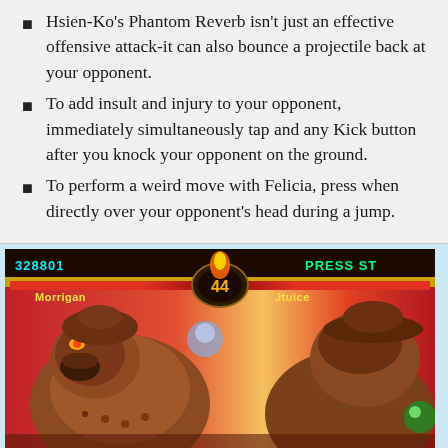Hsien-Ko's Phantom Reverb isn't just an effective offensive attack-it can also bounce a projectile back at your opponent.
To add insult and injury to your opponent, immediately simultaneously tap and any Kick button after you knock your opponent on the ground.
To perform a weird move with Felicia, press when directly over your opponent's head during a jump.
[Figure (screenshot): Video game screenshot showing a fighting game with two characters facing each other. HUD shows scores '328801' on left, 'PRESS ST' on right, character names 'Morrigan' and 'Jtuice', and timer showing '44'. Background is red/orange gradient. Characters appear to be large robot/mech-like fighters.]